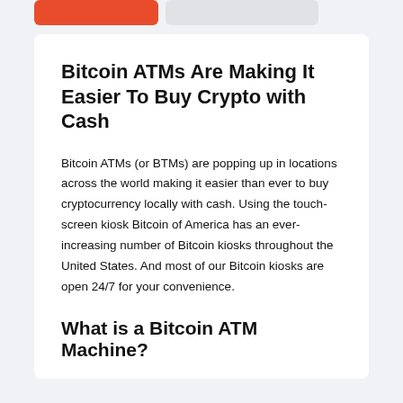[Figure (other): Two buttons: an orange/red button and a light gray button side by side in a light gray navigation bar at the top]
Bitcoin ATMs Are Making It Easier To Buy Crypto with Cash
Bitcoin ATMs (or BTMs) are popping up in locations across the world making it easier than ever to buy cryptocurrency locally with cash. Using the touch-screen kiosk Bitcoin of America has an ever-increasing number of Bitcoin kiosks throughout the United States. And most of our Bitcoin kiosks are open 24/7 for your convenience.
What is a Bitcoin ATM Machine?